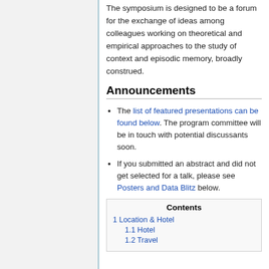The symposium is designed to be a forum for the exchange of ideas among colleagues working on theoretical and empirical approaches to the study of context and episodic memory, broadly construed.
Announcements
The list of featured presentations can be found below. The program committee will be in touch with potential discussants soon.
If you submitted an abstract and did not get selected for a talk, please see Posters and Data Blitz below.
| Contents |
| --- |
| 1 Location & Hotel |
| 1.1 Hotel |
| 1.2 Travel |